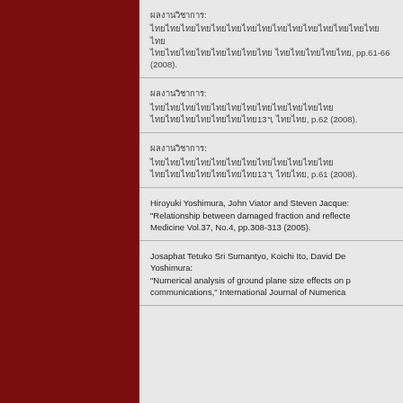ผลงานวิชาการ:
ไทยไทยไทยไทยไทยไทยไทยไทยไทยไทยไทยไทยไทยไทยไทยไทย
ไทยไทยไทยไทยไทยไทยไทยไทย ไทยไทยไทยไทยไทย, pp.61-66 (2008).
ผลงานวิชาการ:
ไทยไทยไทยไทยไทยไทยไทยไทยไทยไทยไทยไทย
ไทยไทยไทยไทยไทยไทยไทย13ฯ, ไทยไทย, p.62 (2008).
ผลงานวิชาการ:
ไทยไทยไทยไทยไทยไทยไทยไทยไทยไทยไทยไทย
ไทยไทยไทยไทยไทยไทยไทย13ฯ, ไทยไทย, p.61 (2008).
Hiroyuki Yoshimura, John Viator and Steven Jacque: "Relationship between damaged fraction and reflecte Medicine Vol.37, No.4, pp.308-313 (2005).
Josaphat Tetuko Sri Sumantyo, Koichi Ito, David De Yoshimura: "Numerical analysis of ground plane size effects on p communications," International Journal of Numerica